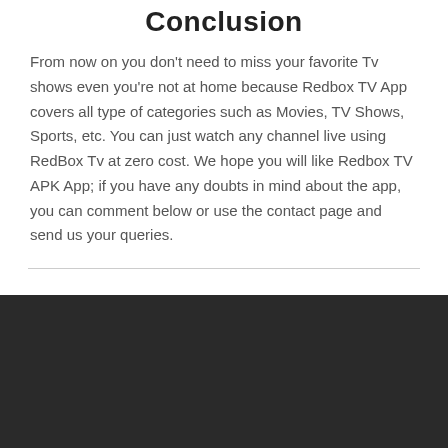Conclusion
From now on you don't need to miss your favorite Tv shows even you're not at home because Redbox TV App covers all type of categories such as Movies, TV Shows, Sports, etc. You can just watch any channel live using RedBox Tv at zero cost. We hope you will like Redbox TV APK App; if you have any doubts in mind about the app, you can comment below or use the contact page and send us your queries.